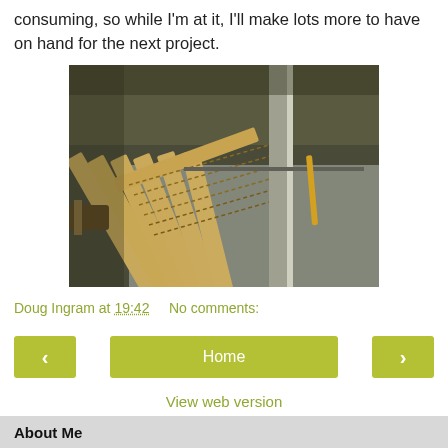consuming, so while I'm at it, I'll make lots more to have on hand for the next project.
[Figure (photo): Wooden slotted strips with zigzag cut patterns laid on a metal table saw surface in a woodworking shop.]
Doug Ingram at 19:42    No comments:
< Home >
View web version
About Me